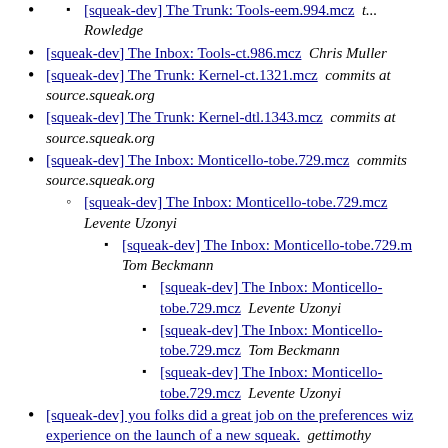[squeak-dev] The Trunk: Tools-eem.994.mcz  t... Rowledge
[squeak-dev] The Inbox: Tools-ct.986.mcz  Chris Muller
[squeak-dev] The Trunk: Kernel-ct.1321.mcz  commits at source.squeak.org
[squeak-dev] The Trunk: Kernel-dtl.1343.mcz  commits at source.squeak.org
[squeak-dev] The Inbox: Monticello-tobe.729.mcz  commits source.squeak.org
[squeak-dev] The Inbox: Monticello-tobe.729.mcz  Levente Uzonyi
[squeak-dev] The Inbox: Monticello-tobe.729.m...  Tom Beckmann
[squeak-dev] The Inbox: Monticello-tobe.729.mcz  Levente Uzonyi
[squeak-dev] The Inbox: Monticello-tobe.729.mcz  Tom Beckmann
[squeak-dev] The Inbox: Monticello-tobe.729.mcz  Levente Uzonyi
[squeak-dev] you folks did a great job on the preferences wiz... experience on the launch of a new squeak.  gettimothy
[squeak-dev] you folks did a great job on the preferences... wizard experience on the launch of a new squeak.  Ch... Muller
[squeak-dev] you folks did a great job on the...